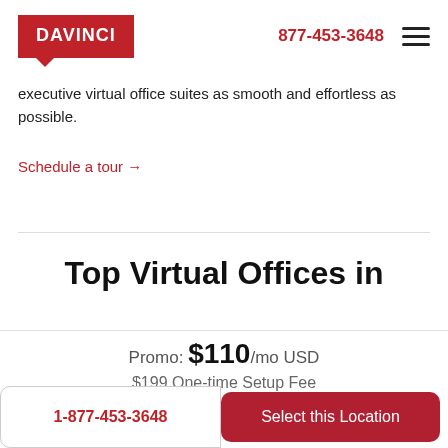[Figure (logo): DAVINCI logo in red rectangle with speech bubble triangle]
877-453-3648
executive virtual office suites as smooth and effortless as possible.
Schedule a tour →
Top Virtual Offices in
Promo: $110/mo USD
$199 One-time Setup Fee
1-877-453-3648
Select this Location